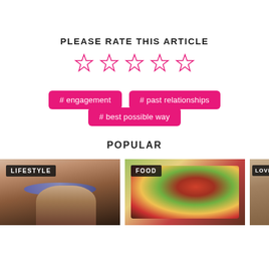PLEASE RATE THIS ARTICLE
[Figure (other): Five empty pink star rating icons in a row]
# engagement
# past relationships
# best possible way
POPULAR
[Figure (photo): Three thumbnail images: LIFESTYLE (woman with blue eyeshadow), FOOD (steak and salad), LOVE (partial tan background)]